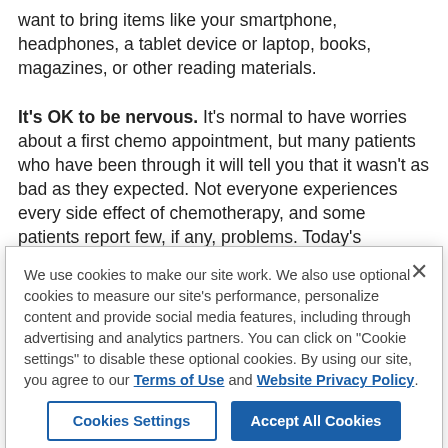want to bring items like your smartphone, headphones, a tablet device or laptop, books, magazines, or other reading materials.
It's OK to be nervous. It's normal to have worries about a first chemo appointment, but many patients who have been through it will tell you that it wasn't as bad as they expected. Not everyone experiences every side effect of chemotherapy, and some patients report few, if any, problems. Today's
We use cookies to make our site work. We also use optional cookies to measure our site's performance, personalize content and provide social media features, including through advertising and analytics partners. You can click on "Cookie settings" to disable these optional cookies. By using our site, you agree to our Terms of Use and Website Privacy Policy.